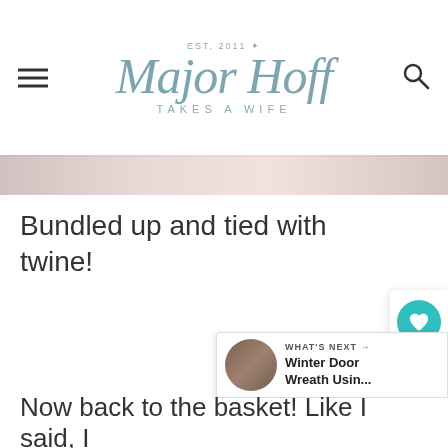Major Hoff Takes a Wife — EST. 2011
[Figure (photo): Partial image strip showing a pink/rose toned photograph at the top of the article]
Bundled up and tied with twine!
Now back to the basket! Like I said, I